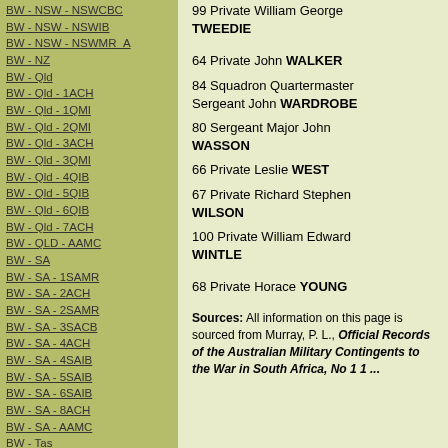BW - NSW - NSWCBC
BW - NSW - NSWIB
BW - NSW - NSWMR_A
BW - NZ
BW - Qld
BW - Qld - 1ACH
BW - Qld - 1QMI
BW - Qld - 2QMI
BW - Qld - 3ACH
BW - Qld - 3QMI
BW - Qld - 4QIB
BW - Qld - 5QIB
BW - Qld - 6QIB
BW - Qld - 7ACH
BW - QLD - AAMC
BW - SA
BW - SA - 1SAMR
BW - SA - 2ACH
BW - SA - 2SAMR
BW - SA - 3SACB
BW - SA - 4ACH
BW - SA - 4SAIB
BW - SA - 5SAIB
BW - SA - 6SAIB
BW - SA - 8ACH
BW - SA - AAMC
BW - Tas
BW - Tas - 1ACH
99 Private William George TWEEDIE
64 Private John WALKER
84 Squadron Quartermaster Sergeant John WARDROBE
80 Sergeant Major John WASSON
66 Private Leslie WEST
67 Private Richard Stephen WILSON
100 Private William Edward WINTLE
68 Private Horace YOUNG
Sources: All information on this page is sourced from Murray, P. L., Official Records of the Australian Military Contingents to the War in South Africa, No 1 1 ...